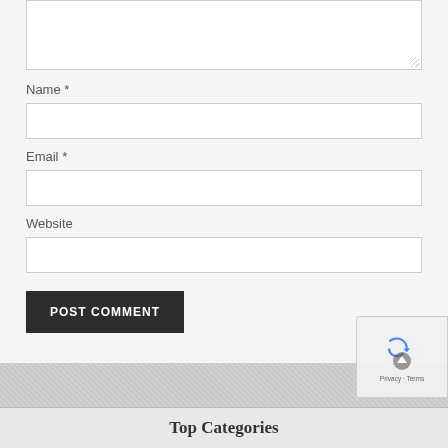[Figure (screenshot): Textarea input field at top of comment form, partially visible, with resize handle in bottom-right corner]
Name *
[Figure (screenshot): Text input field for Name]
Email *
[Figure (screenshot): Text input field for Email]
Website
[Figure (screenshot): Text input field for Website]
[Figure (screenshot): POST COMMENT dark button]
[Figure (logo): reCAPTCHA badge with Google logo, Privacy and Terms links, and scroll-to-top button]
Top Categories